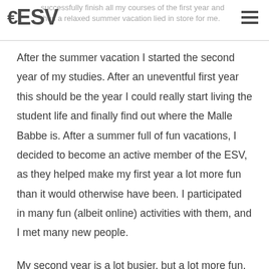successfully finish all my courses of the first year and thus a relaxed summer vacation lied in store for me.
After the summer vacation I started the second year of my studies. After an uneventful first year this should be the year I could really start living the student life and finally find out where the Malle Babbe is. After a summer full of fun vacations, I decided to become an active member of the ESV, as they helped make my first year a lot more fun than it would otherwise have been. I participated in many fun (albeit online) activities with them, and I met many new people.
My second year is a lot busier, but a lot more fun, than my first. It started out with one of the best weeks ever: being an introductory mentor with two friends. The